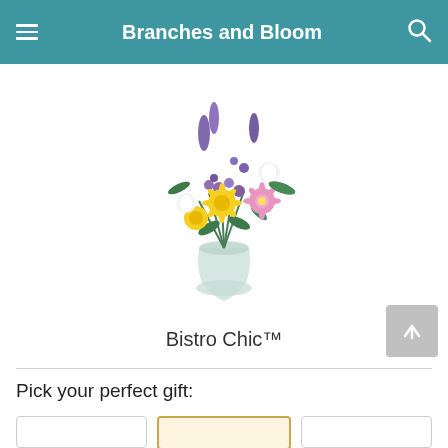Branches and Bloom
[Figure (photo): A floral arrangement called Bistro Chic in a glass vase featuring yellow chrysanthemums, purple delphiniums, pink daisies, and white flowers with green leaves.]
Bistro Chic™
Pick your perfect gift: